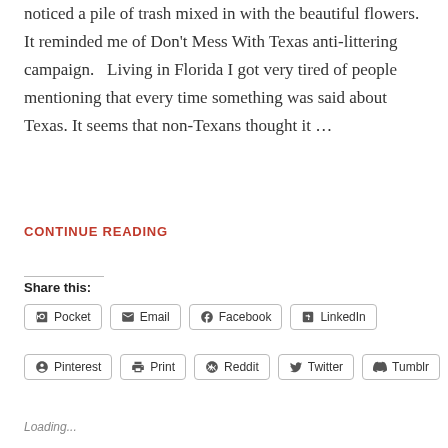noticed a pile of trash mixed in with the beautiful flowers. It reminded me of Don't Mess With Texas anti-littering campaign.   Living in Florida I got very tired of people mentioning that every time something was said about Texas. It seems that non-Texans thought it …
CONTINUE READING
Share this:
Pocket  Email  Facebook  LinkedIn
Pinterest  Print  Reddit  Twitter  Tumblr
Loading...